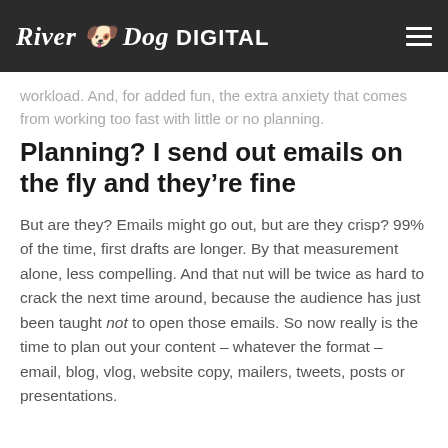River Dog DIGITAL
workload. And, for added fun, the extra anxiety that comes from working too fast with little or no planning.
Planning? I send out emails on the fly and they’re fine
But are they? Emails might go out, but are they crisp? 99% of the time, first drafts are longer. By that measurement alone, less compelling. And that nut will be twice as hard to crack the next time around, because the audience has just been taught not to open those emails. So now really is the time to plan out your content – whatever the format – email, blog, vlog, website copy, mailers, tweets, posts or presentations.